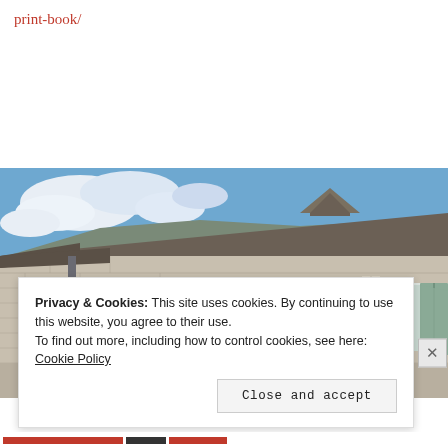print-book/
[Figure (photo): Photograph of a French stone farmhouse with green shuttered windows against a partly cloudy blue sky]
Privacy & Cookies: This site uses cookies. By continuing to use this website, you agree to their use.
To find out more, including how to control cookies, see here: Cookie Policy
Close and accept